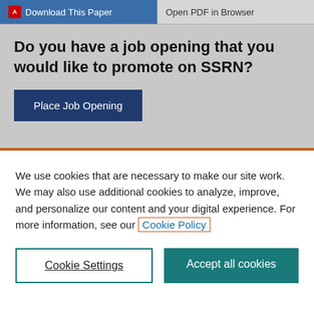[Figure (screenshot): Top section with Download This Paper and Open PDF in Browser buttons on gray background]
Do you have a job opening that you would like to promote on SSRN?
[Figure (screenshot): Place Job Opening dark blue button]
We use cookies that are necessary to make our site work. We may also use additional cookies to analyze, improve, and personalize our content and your digital experience. For more information, see our Cookie Policy
[Figure (screenshot): Cookie Settings and Accept all cookies buttons]